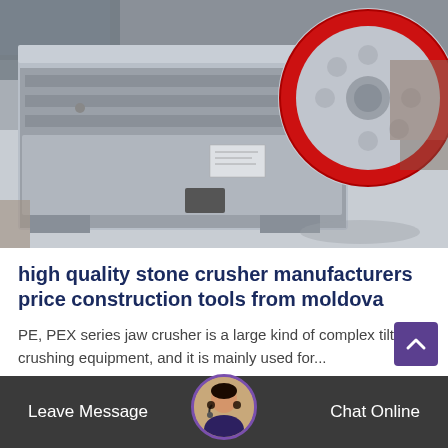[Figure (photo): Photograph of a large grey jaw crusher machine with a red flywheel, sitting on a concrete surface outdoors.]
high quality stone crusher manufacturers price construction tools from moldova
PE, PEX series jaw crusher is a large kind of complex tilting crushing equipment, and it is mainly used for...
Leave Message   Chat Online